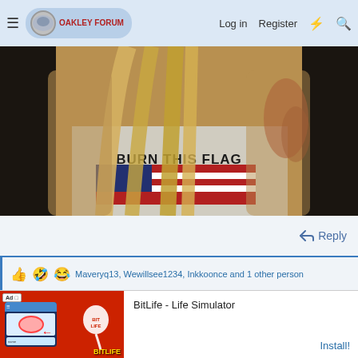Oakley Forum — Log in  Register
[Figure (photo): A person wearing a tank top that reads 'BURN THIS FLAG' with an American flag graphic on it. The person has long blonde hair and appears to have marks or a rash on their right shoulder/arm. The background is very dark.]
↩ Reply
👍 🤣 😂 Maveryq13, Wewillsee1234, Inkkoonce and 1 other person
[Figure (screenshot): Advertisement banner: BitLife - Life Simulator with Install button. Ad image shows a red background with a cartoon figure and the BitLife logo. The ad label 'Ad' is shown.]